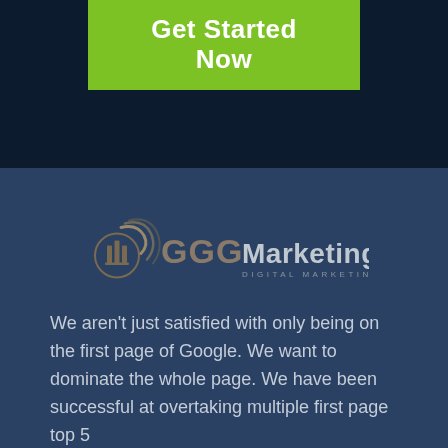[Figure (other): Green call-to-action button with text 'Get Started Now' on a dark navy background]
[Figure (logo): GGG Marketing Digital Marketing Agency logo with swoosh/building graphic icon in dark gold/brown and grey]
We aren't just satisfied with only being on the first page of Google. We want to dominate the whole page. We have been successful at overtaking multiple first page top 5